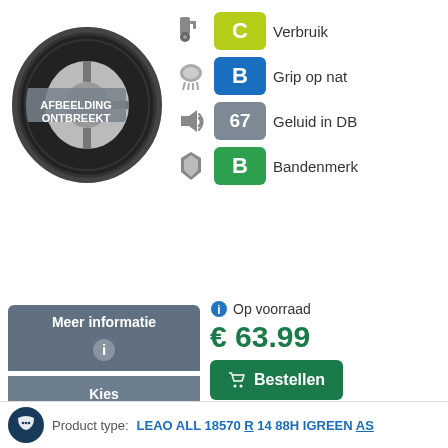[Figure (illustration): Tire image placeholder showing a tire with label AFBEELDING ONTBREEKT]
C Verbruik
B Grip op nat
67 Geluid in DB
B Bandenmerk
Op voorraad
€ 63.99
Meer informatie
Bestellen
Kies montagepunt
Product type: LEAO ALL 18570 R 14 88H IGREEN AS